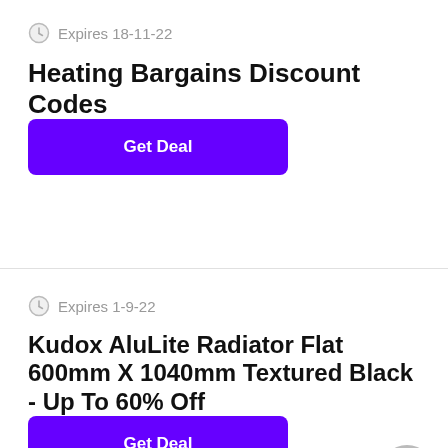Expires 18-11-22
Heating Bargains Discount Codes
Get Deal
Expires 1-9-22
Kudox AluLite Radiator Flat 600mm X 1040mm Textured Black - Up To 60% Off
Get Deal